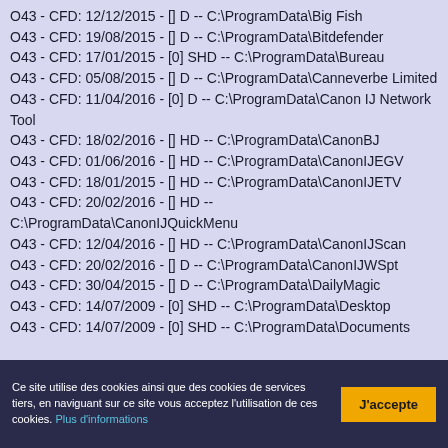O43 - CFD: 12/12/2015 - [] D -- C:\ProgramData\Big Fish
O43 - CFD: 19/08/2015 - [] D -- C:\ProgramData\Bitdefender
O43 - CFD: 17/01/2015 - [0] SHD -- C:\ProgramData\Bureau
O43 - CFD: 05/08/2015 - [] D -- C:\ProgramData\Canneverbe Limited
O43 - CFD: 11/04/2016 - [0] D -- C:\ProgramData\Canon IJ Network Tool
O43 - CFD: 18/02/2016 - [] HD -- C:\ProgramData\CanonBJ
O43 - CFD: 01/06/2016 - [] HD -- C:\ProgramData\CanonIJEGV
O43 - CFD: 18/01/2015 - [] HD -- C:\ProgramData\CanonIJETV
O43 - CFD: 20/02/2016 - [] HD -- C:\ProgramData\CanonIJQuickMenu
O43 - CFD: 12/04/2016 - [] HD -- C:\ProgramData\CanonIJScan
O43 - CFD: 20/02/2016 - [] D -- C:\ProgramData\CanonIJWSpt
O43 - CFD: 30/04/2015 - [] D -- C:\ProgramData\DailyMagic
O43 - CFD: 14/07/2009 - [0] SHD -- C:\ProgramData\Desktop
O43 - CFD: 14/07/2009 - [0] SHD -- C:\ProgramData\Documents
Ce site utilise des cookies ainsi que des cookies de services tiers, en naviguant sur ce site vous acceptez l'utilisation de ces cookies. Plus d'informations
J'accepte